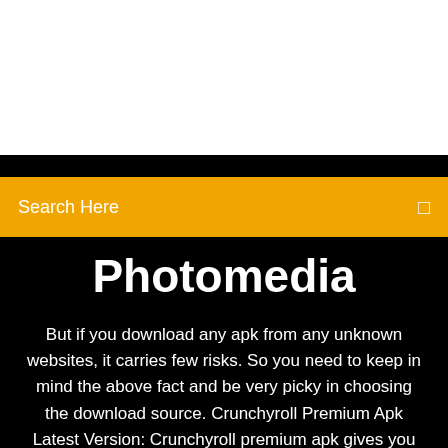[Figure (screenshot): White top area of a webpage screenshot]
Search Here
Photomedia
But if you download any apk from any unknown websites, it carries few risks. So you need to keep in mind the above fact and be very picky in choosing the download source. Crunchyroll Premium Apk Latest Version: Crunchyroll premium apk gives you an even better experience than the Crunchyroll apk. The app is based on a Free model.